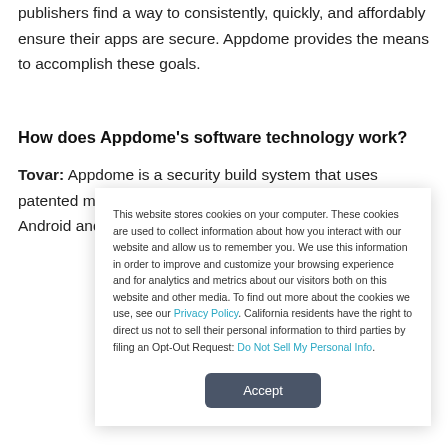publishers find a way to consistently, quickly, and affordably ensure their apps are secure. Appdome provides the means to accomplish these goals.
How does Appdome's software technology work?
Tovar: Appdome is a security build system that uses patented machine coding to build security features into Android and iOS
This website stores cookies on your computer. These cookies are used to collect information about how you interact with our website and allow us to remember you. We use this information in order to improve and customize your browsing experience and for analytics and metrics about our visitors both on this website and other media. To find out more about the cookies we use, see our Privacy Policy. California residents have the right to direct us not to sell their personal information to third parties by filing an Opt-Out Request: Do Not Sell My Personal Info.